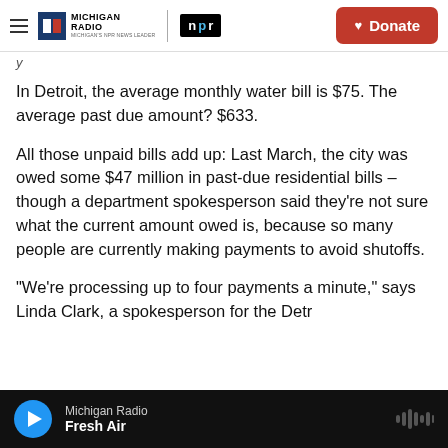Michigan Radio | NPR | Donate
In Detroit, the average monthly water bill is $75. The average past due amount? $633.
All those unpaid bills add up: Last March, the city was owed some $47 million in past-due residential bills – though a department spokesperson said they're not sure what the current amount owed is, because so many people are currently making payments to avoid shutoffs.
“We’re processing up to four payments a minute,” says Linda Clark, a spokesperson for the Detr
Michigan Radio | Fresh Air